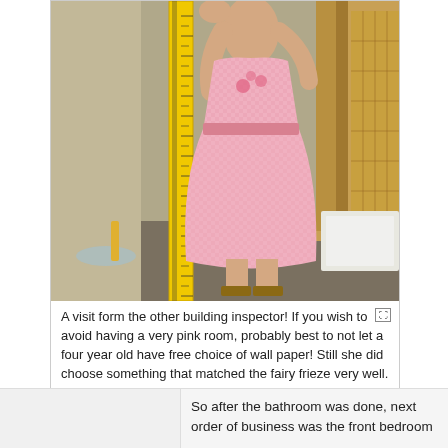[Figure (photo): A person wearing a pink gingham dress standing next to a tall yellow measuring ruler/tape in what appears to be a bathroom under construction. Wooden framing and a bathtub visible in background.]
A visit form the other building inspector! If you wish to avoid having a very pink room, probably best to not let a four year old have free choice of wall paper! Still she did choose something that matched the fairy frieze very well.
So after the bathroom was done, next order of business was the front bedroom